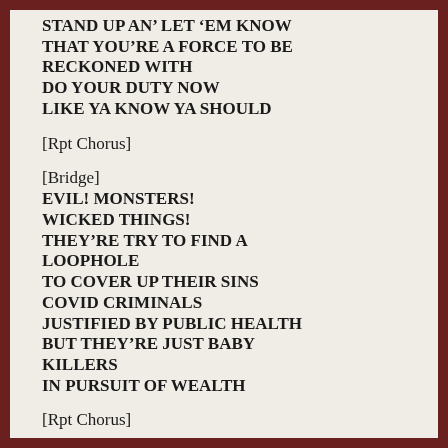STAND UP AN' LET 'EM KNOW
THAT YOU'RE A FORCE TO BE RECKONED WITH
DO YOUR DUTY NOW
LIKE YA KNOW YA SHOULD
[Rpt Chorus]
[Bridge]
EVIL! MONSTERS!
WICKED THINGS!
THEY'RE TRY TO FIND A LOOPHOLE
TO COVER UP THEIR SINS
COVID CRIMINALS
JUSTIFIED BY PUBLIC HEALTH
BUT THEY'RE JUST BABY KILLERS
IN PURSUIT OF WEALTH
[Rpt Chorus]
[Coda]
OK ALL YOU FACT CHECKERS